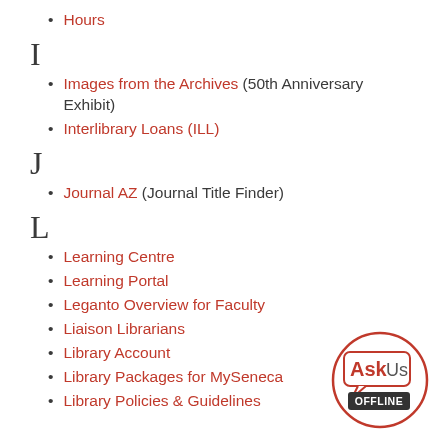Hours
I
Images from the Archives (50th Anniversary Exhibit)
Interlibrary Loans (ILL)
J
Journal AZ (Journal Title Finder)
L
Learning Centre
Learning Portal
Leganto Overview for Faculty
Liaison Librarians
Library Account
Library Packages for MySeneca
Library Policies & Guidelines
[Figure (logo): AskUs OFFLINE chat widget button — circular red border with 'AskUs' in bold red/gray text and 'OFFLINE' on a dark background badge]